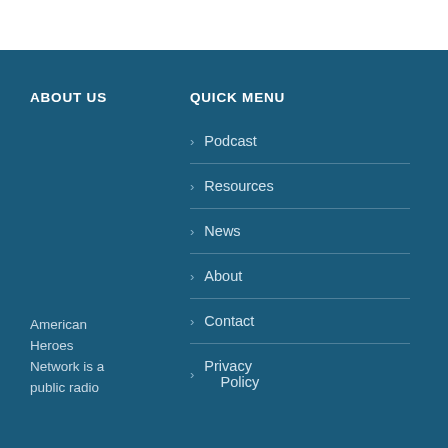ABOUT US
QUICK MENU
> Podcast
> Resources
> News
> About
> Contact
> Privacy Policy
American Heroes Network is a public radio